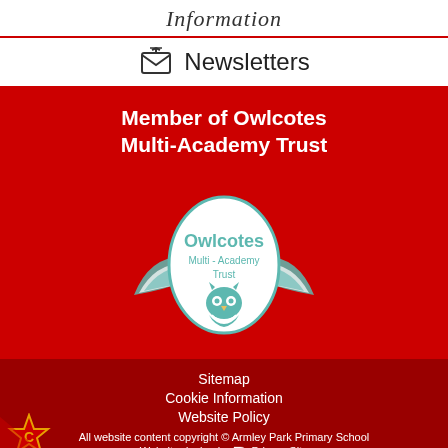Information
Newsletters
Member of Owlcotes Multi-Academy Trust
[Figure (logo): Owlcotes Multi-Academy Trust logo: teal/mint owl with wings spread inside an egg-shaped crest, text 'Owlcotes Multi-Academy Trust']
Sitemap
Cookie Information
Website Policy
All website content copyright © Armley Park Primary School
Website design by PrimarySite